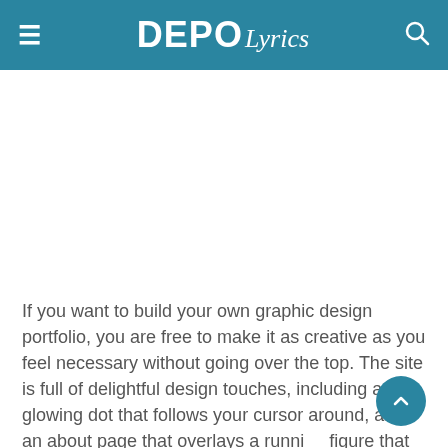≡ DEPO Lyrics 🔍
If you want to build your own graphic design portfolio, you are free to make it as creative as you feel necessary without going over the top. The site is full of delightful design touches, including a glowing dot that follows your cursor around, and an about page that overlays a running figure that responds to mouse events. Lounge lizard's portfolio creates a relaxed atmosphere.